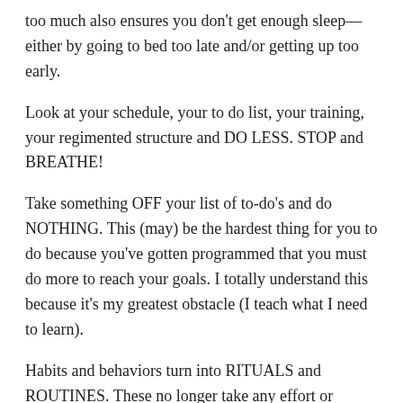too much also ensures you don't get enough sleep—either by going to bed too late and/or getting up too early.
Look at your schedule, your to do list, your training, your regimented structure and DO LESS. STOP and BREATHE!
Take something OFF your list of to-do's and do NOTHING. This (may) be the hardest thing for you to do because you've gotten programmed that you must do more to reach your goals. I totally understand this because it's my greatest obstacle (I teach what I need to learn).
Habits and behaviors turn into RITUALS and ROUTINES. These no longer take any effort or